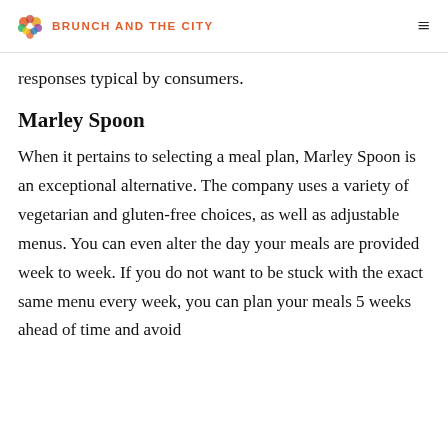BRUNCH AND THE CITY
responses typical by consumers.
Marley Spoon
When it pertains to selecting a meal plan, Marley Spoon is an exceptional alternative. The company uses a variety of vegetarian and gluten-free choices, as well as adjustable menus. You can even alter the day your meals are provided week to week. If you do not want to be stuck with the exact same menu every week, you can plan your meals 5 weeks ahead of time and avoid